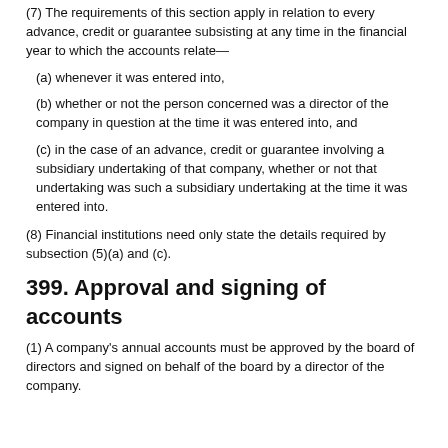(7) The requirements of this section apply in relation to every advance, credit or guarantee subsisting at any time in the financial year to which the accounts relate—
(a) whenever it was entered into,
(b) whether or not the person concerned was a director of the company in question at the time it was entered into, and
(c) in the case of an advance, credit or guarantee involving a subsidiary undertaking of that company, whether or not that undertaking was such a subsidiary undertaking at the time it was entered into.
(8) Financial institutions need only state the details required by subsection (5)(a) and (c).
399. Approval and signing of accounts
(1) A company's annual accounts must be approved by the board of directors and signed on behalf of the board by a director of the company.